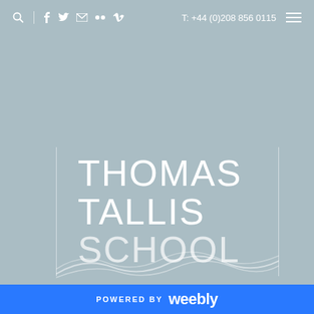T: +44 (0)208 856 0115
THOMAS TALLIS SCHOOL
[Figure (illustration): Decorative white wave/curve lines at the bottom of the school logo box]
POWERED BY weebly